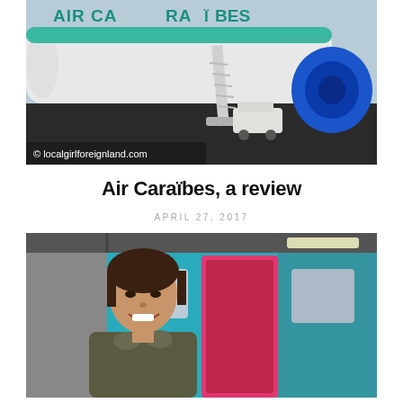[Figure (photo): Air Caraïbes airplane on tarmac with boarding stairs attached, blue engine visible on the right. Copyright watermark: © localgirlforeign land.com]
Air Caraïbes, a review
APRIL 27, 2017
[Figure (photo): Young Asian woman smiling in front of a teal/blue train with pink door accents, in a train station.]